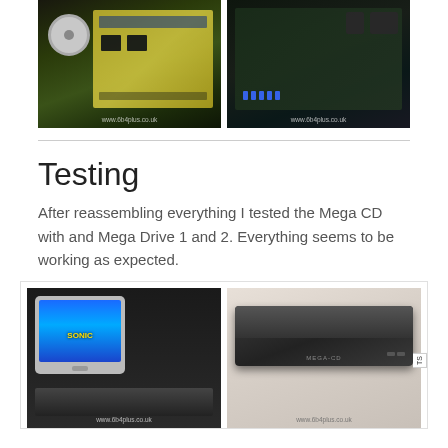[Figure (photo): Two photos of circuit boards and internals of a Sega Mega CD console, with watermarks reading www.6b4plus.co.uk]
Testing
After reassembling everything I tested the Mega CD with and Mega Drive 1 and 2. Everything seems to be working as expected.
[Figure (photo): Two photos showing testing results: a CRT TV displaying the Sonic the Hedgehog title screen, and a Mega CD unit on a desk. Watermarks visible.]